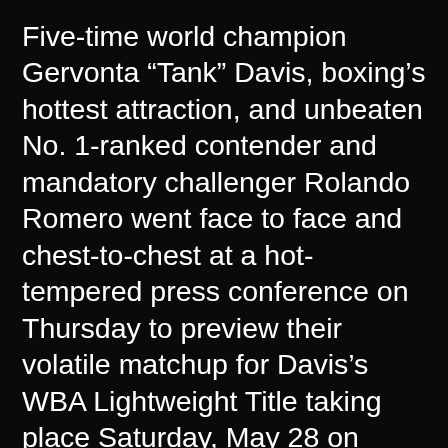Five-time world champion Gervonta “Tank” Davis, boxing’s hottest attraction, and unbeaten No. 1-ranked contender and mandatory challenger Rolando Romero went face to face and chest-to-chest at a hot-tempered press conference on Thursday to preview their volatile matchup for Davis’s WBA Lightweight Title taking place Saturday, May 28 on SHOWTIME PPV from Barclays Center in Brooklyn headlining a Premier Boxing Champions event.
The unbeaten rivals squared off ahead of their championship clash and declared their dislike for the other and intention to deliver fireworks on Memorial Day weekend in Brooklyn…